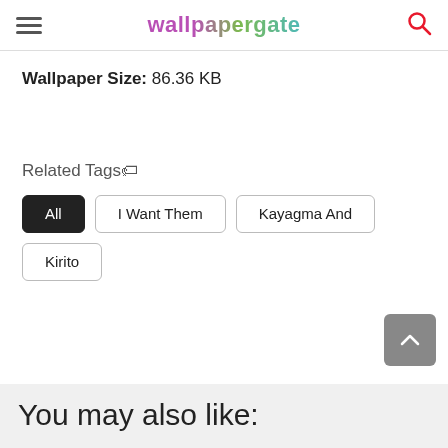wallpapergate
Wallpaper Size:  86.36 KB
Related Tags🏷
All
I Want Them
Kayagma And
Kirito
You may also like: